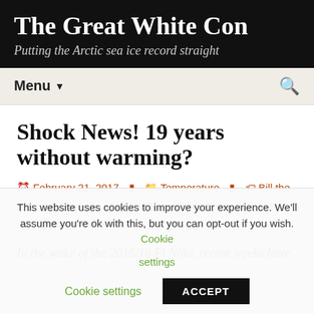The Great White Con
Putting the Arctic sea ice record straight
Menu ▼
Shock News! 19 years without warming?
February 21, 2017   Temperature   Bill the Frog, Mt Pinatubo, NCEI, NOAA, Shock News, TLT, UAH   Jim Hunt
In the wake of the 2015/16 El Niño, recent weeks have
This website uses cookies to improve your experience. We'll assume you're ok with this, but you can opt-out if you wish. Cookie settings ACCEPT